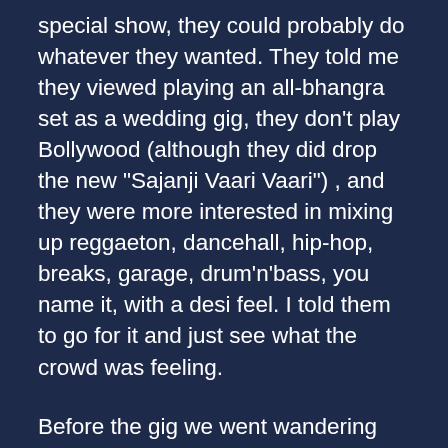special show, they could probably do whatever they wanted. They told me they viewed playing an all-bhangra set as a wedding gig, they don't play Bollywood (although they did drop the new “Sajanji Vaari Vaari”) , and they were more interested in mixing up reggaeton, dancehall, hip-hop, breaks, garage, drum’n’bass, you name it, with a desi feel. I told them to go for it and just see what the crowd was feeling.
Before the gig we went wandering looking for Italian food (vegetarian!) since that was what they were in the mood for. All my favorite Italian places are in SE, and I don’t know anything about NW or Pearl restaurants because I don’t have those kinds of funds. We looked in the windows of a bunch of really toney chichi Italian places (which all seemed to